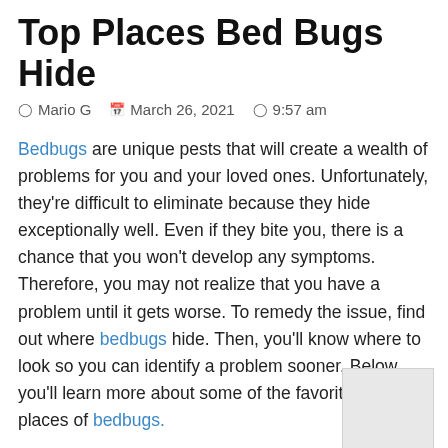Top Places Bed Bugs Hide
Mario G   March 26, 2021   9:57 am
Bedbugs are unique pests that will create a wealth of problems for you and your loved ones. Unfortunately, they're difficult to eliminate because they hide exceptionally well. Even if they bite you, there is a chance that you won't develop any symptoms. Therefore, you may not realize that you have a problem until it gets worse. To remedy the issue, find out where bedbugs hide. Then, you'll know where to look so you can identify a problem sooner. Below, you'll learn more about some of the favorite hiding places of bedbugs.
Bedbug Favorite Hiding Places